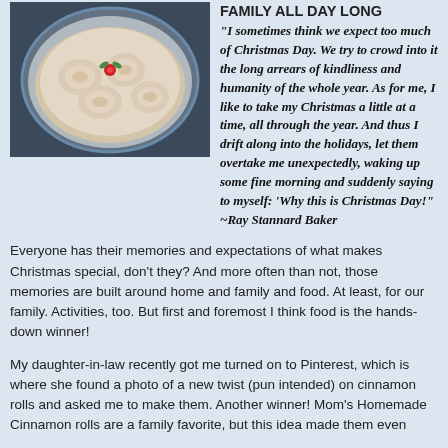[Figure (photo): A photo of cinnamon rolls in a round baking pan, with a red cherry visible on top, dark background.]
FAMILY ALL DAY LONG
“I sometimes think we expect too much of Christmas Day. We try to crowd into it the long arrears of kindliness and humanity of the whole year. As for me, I like to take my Christmas a little at a time, all through the year. And thus I drift along into the holidays, let them overtake me unexpectedly, waking up some fine morning and suddenly saying to myself: ‘Why this is Christmas Day!” ~Ray Stannard Baker
Everyone has their memories and expectations of what makes Christmas special, don’t they?  And more often than not, those memories are built around home and family and food. At least, for our family. Activities, too. But first and foremost I think food is the hands-down winner!
My daughter-in-law recently got me turned on to Pinterest, which is where she found a photo of a new twist (pun intended) on cinnamon rolls and asked me to make them. Another winner! Mom’s Homemade Cinnamon rolls are a family favorite, but this idea made them even